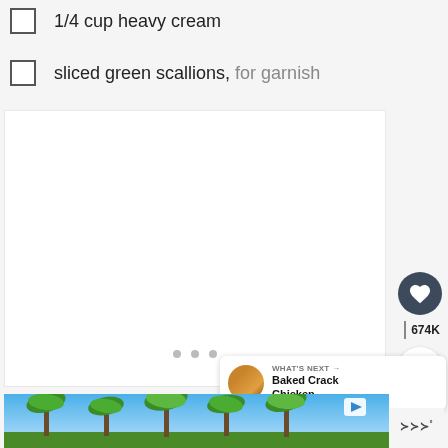1/4 cup heavy cream
sliced green scallions, for garnish
[Figure (photo): Large image placeholder area (white/light gray), with three small gray dots indicating loading or pagination]
[Figure (screenshot): UI sidebar with heart button, 674K count, and share button]
[Figure (screenshot): What's Next promo: thumbnail image, label 'WHAT'S NEXT ->' and title 'Baked Crack Chicken...']
[Figure (photo): Advertisement banner showing palm trees against blue sky]